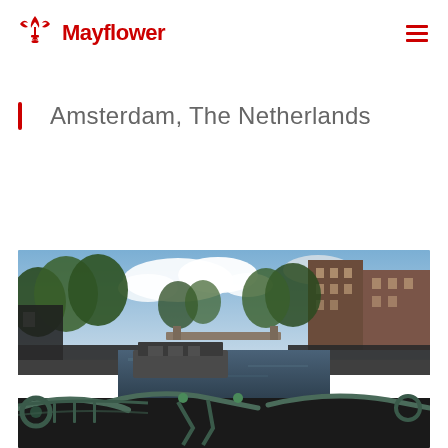Mayflower
Amsterdam, The Netherlands
[Figure (photo): Photograph of Amsterdam canal with bicycles on a bridge railing in the foreground, houseboats on the canal, trees lining both sides, historic Dutch buildings on the right, and a cloudy blue sky]